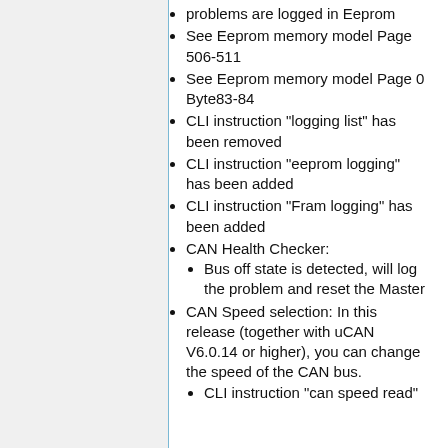problems are logged in Eeprom
See Eeprom memory model Page 506-511
See Eeprom memory model Page 0 Byte83-84
CLI instruction "logging list" has been removed
CLI instruction "eeprom logging" has been added
CLI instruction "Fram logging" has been added
CAN Health Checker:
Bus off state is detected, will log the problem and reset the Master
CAN Speed selection: In this release (together with uCAN V6.0.14 or higher), you can change the speed of the CAN bus.
CLI instruction "can speed read"